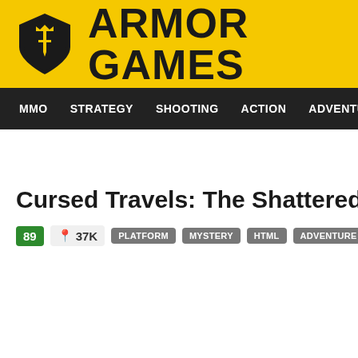[Figure (logo): Armor Games logo: yellow background with shield icon and bold text ARMOR GAMES]
MMO  STRATEGY  SHOOTING  ACTION  ADVENTURE  P
Cursed Travels: The Shattered Labyrint
89  🗺 37K  PLATFORM  MYSTERY  HTML  ADVENTURE